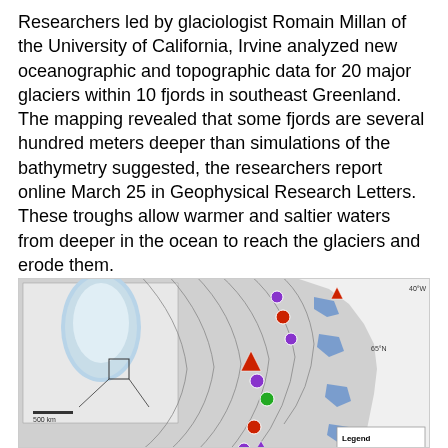Researchers led by glaciologist Romain Millan of the University of California, Irvine analyzed new oceanographic and topographic data for 20 major glaciers within 10 fjords in southeast Greenland. The mapping revealed that some fjords are several hundred meters deeper than simulations of the bathymetry suggested, the researchers report online March 25 in Geophysical Research Letters. These troughs allow warmer and saltier waters from deeper in the ocean to reach the glaciers and erode them.
[Figure (map): Map of southeast Greenland coast showing fjord locations with colored markers (red circles, purple circles, red triangles, purple triangles, green circle) and an inset overview map of Greenland. Blue shading indicates glaciers. Contour lines in gray indicate bathymetry. A legend box appears in the lower right.]